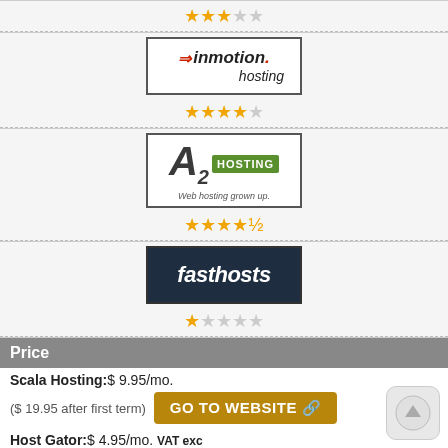[Figure (screenshot): Table of web hosting providers with star ratings. Shows: a hosting provider with 3-star rating, InMotion Hosting logo with 4-star rating, A2 Hosting logo with 4.5-star rating, Fasthosts logo with 1-star rating.]
Price
Scala Hosting: $ 9.95/mo.
($ 19.95 after first term)
Host Gator: $ 4.95/mo. VAT exc
($ 12.95 after first term)
InMotion Hosting: $ 5.00/mo.
A2hosting: $ 4.99/mo.